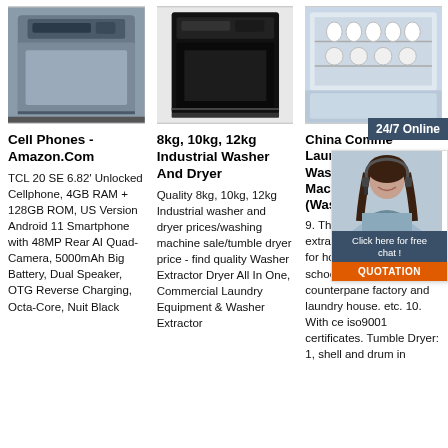[Figure (photo): Silver/stainless steel built-in dishwasher, front view]
[Figure (photo): Black countertop dishwasher, front view]
[Figure (photo): Open dishwasher with dishes loaded inside, stainless steel interior]
24/7 Online
Cell Phones - Amazon.Com
TCL 20 SE 6.82' Unlocked Cellphone, 4GB RAM + 128GB ROM, US Version Android 11 Smartphone with 48MP Rear AI Quad-Camera, 5000mAh Big Battery, Dual Speaker, OTG Reverse Charging, Octa-Core, Nuit Black
8kg, 10kg, 12kg Industrial Washer And Dryer
Quality 8kg, 10kg, 12kg Industrial washer and dryer prices/washing machine sale/tumble dryer price - find quality Washer Extractor Dryer All In One, Commercial Laundry Equipment & Washer Extractor
China Comme Laundr Washing Machin (Washe
9. The au fully was extractor are usually used for hotel, restaurant, school, hospital, counterpane factory and laundry house. etc. 10. With ce iso9001 certificates. Tumble Dryer: 1, shell and drum in
[Figure (photo): Customer service representative woman with headset, 24/7 online chat overlay with Click here for free chat and QUOTATION button]